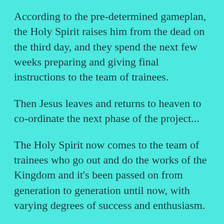According to the pre-determined gameplan, the Holy Spirit raises him from the dead on the third day, and they spend the next few weeks preparing and giving final instructions to the team of trainees.
Then Jesus leaves and returns to heaven to co-ordinate the next phase of the project...
The Holy Spirit now comes to the team of trainees who go out and do the works of the Kingdom and it's been passed on from generation to generation until now, with varying degrees of success and enthusiasm.
If we lay down our lives, die to self and ask the Holy Spirit to come and